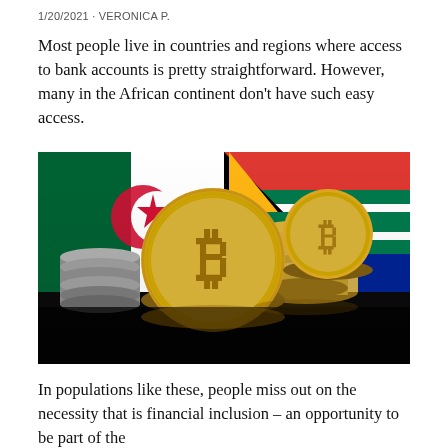1/20/2021 · VERONICA P.
Most people live in countries and regions where access to bank accounts is pretty straightforward. However, many in the African continent don't have such easy access.
[Figure (photo): Gold Bitcoin coins stacked in front of African flags (Algeria and South Africa) on a dark reflective surface]
In populations like these, people miss out on the necessity that is financial inclusion – an opportunity to be part of the